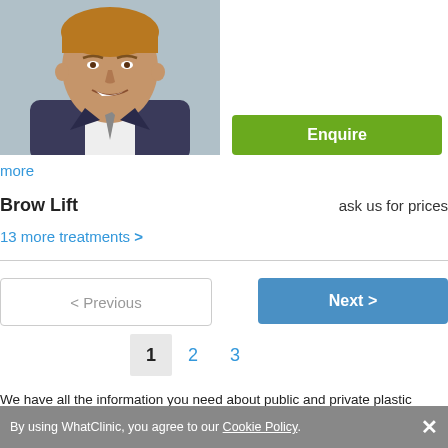[Figure (photo): Headshot of a middle-aged male plastic surgeon smiling, wearing a suit]
Enquire
more
Brow Lift	ask us for prices
13 more treatments >
< Previous
Next >
1  2  3
We have all the information you need about public and private plastic surgery clinics that provide brow lift in Switzerland. Compare all the plastic surgeons and contact the brow lift clinic in Switzerland that's right for you.
By using WhatClinic, you agree to our Cookie Policy.